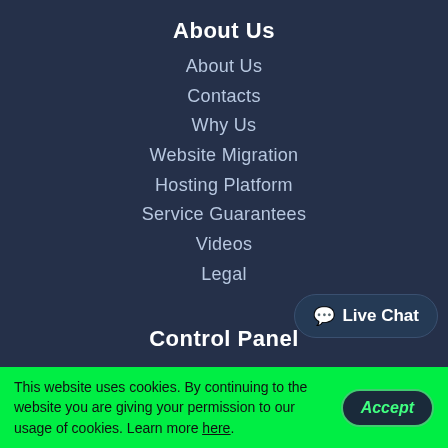About Us
About Us
Contacts
Why Us
Website Migration
Hosting Platform
Service Guarantees
Videos
Legal
Control Panel
Web Hosting Control Panel
Hepsia vs cPanel
Web Accelerators
Free Themes
Domains Manager
This website uses cookies. By continuing to the website you are giving your permission to our usage of cookies. Learn more here.